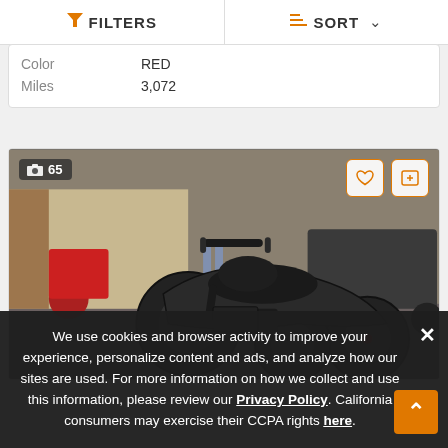FILTERS   SORT
| Color | Miles |
| --- | --- |
| RED | 3,072 |
[Figure (photo): A dark matte black three-wheeled motorcycle (trike/Can-Am style) parked in a lot with other motorcycles visible in the background. Photo count badge shows 65.]
We use cookies and browser activity to improve your experience, personalize content and ads, and analyze how our sites are used. For more information on how we collect and use this information, please review our Privacy Policy. California consumers may exercise their CCPA rights here.